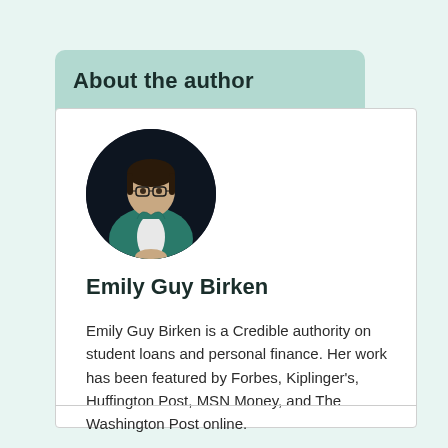About the author
[Figure (photo): Circular profile photo of Emily Guy Birken, a woman with glasses wearing a teal blazer, seated with hands clasped]
Emily Guy Birken
Emily Guy Birken is a Credible authority on student loans and personal finance. Her work has been featured by Forbes, Kiplinger's, Huffington Post, MSN Money, and The Washington Post online.
Read More